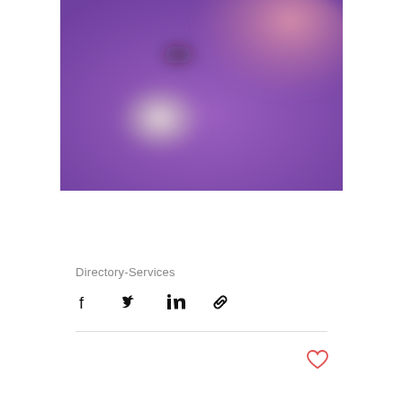[Figure (photo): Blurred abstract photo with purple and pink tones, showing an out-of-focus object against a purple background]
Directory-Services
[Figure (other): Social share icons: Facebook, Twitter, LinkedIn, Copy Link]
[Figure (other): Heart/like button icon in red outline]